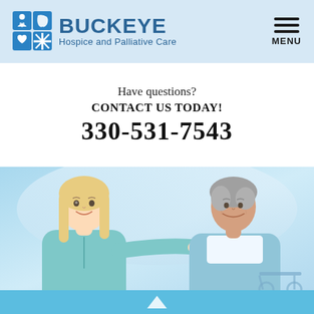[Figure (logo): Buckeye Hospice and Palliative Care logo with icon grid and text]
Have questions?
CONTACT US TODAY!
330-531-7543
[Figure (photo): A smiling young female caregiver in teal scrubs placing her hand on the shoulder of an elderly woman in a light blue jacket, both facing each other and smiling in a light blue medical setting]